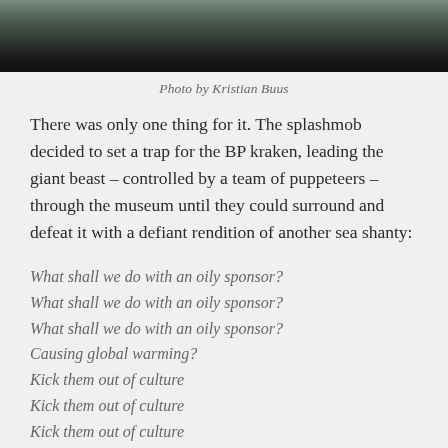[Figure (photo): Bottom portion of a person's legs and feet, wearing dark trousers, standing on a light-colored floor. Top portion of the page is cropped.]
Photo by Kristian Buus
There was only one thing for it. The splashmob decided to set a trap for the BP kraken, leading the giant beast – controlled by a team of puppeteers – through the museum until they could surround and defeat it with a defiant rendition of another sea shanty:
What shall we do with an oily sponsor?
What shall we do with an oily sponsor?
What shall we do with an oily sponsor?
Causing global warming?
Kick them out of culture
Kick them out of culture
Kick them out of culture